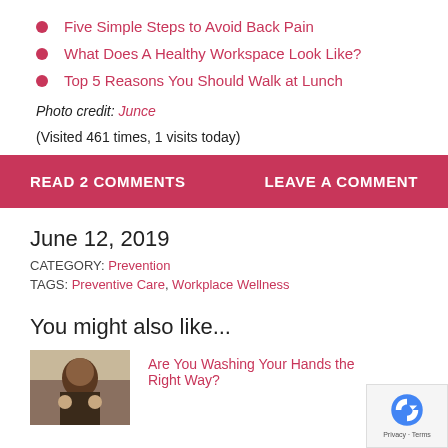Five Simple Steps to Avoid Back Pain
What Does A Healthy Workspace Look Like?
Top 5 Reasons You Should Walk at Lunch
Photo credit: Junce
(Visited 461 times, 1 visits today)
READ 2 COMMENTS   LEAVE A COMMENT
June 12, 2019
CATEGORY: Prevention
TAGS: Preventive Care, Workplace Wellness
You might also like...
Are You Washing Your Hands the Right Way?